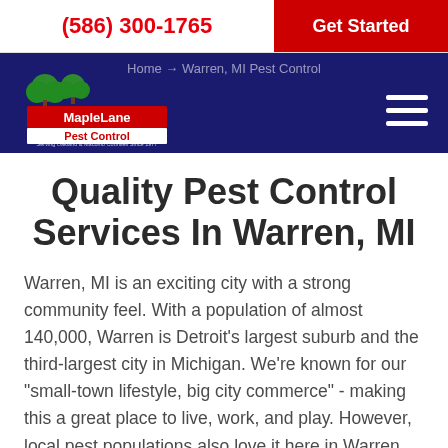(586) 300-1765
Get Started
Home → Warren, MI Pest Control
[Figure (logo): MapleLane Pest Control logo with trees, serving Oakland & Macomb Counties Since 1977]
Quality Pest Control Services In Warren, MI
Warren, MI is an exciting city with a strong community feel. With a population of almost 140,000, Warren is Detroit's largest suburb and the third-largest city in Michigan. We're known for our "small-town lifestyle, big city commerce" - making this a great place to live, work, and play. However, local pest populations also love it here in Warren,